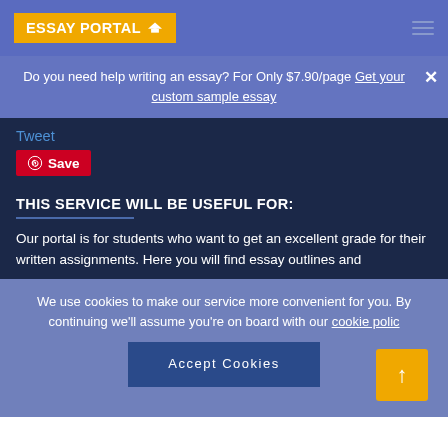ESSAY PORTAL 🎓
Do you need help writing an essay? For Only $7.90/page Get your custom sample essay
Tweet
Save
THIS SERVICE WILL BE USEFUL FOR:
Our portal is for students who want to get an excellent grade for their written assignments. Here you will find essay outlines and
We use cookies to make our service more convenient for you. By continuing we'll assume you're on board with our cookie policy
Accept Cookies